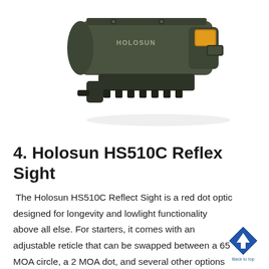[Figure (photo): Product photo of a Holosun red dot / reflex sight optic in dark olive/black finish with an amber-tinted lens, shown at an angle on a white background]
4. Holosun HS510C Reflex Sight
The Holosun HS510C Reflect Sight is a red dot optic designed for longevity and lowlight functionality above all else. For starters, it comes with an adjustable reticle that can be swapped between a 65 MOA circle, a 2 MOA dot, and several other options just by pressing a button
[Figure (logo): Blue diamond-shaped Back to Top navigation button with an upward arrow icon and 'Back to top' text label]